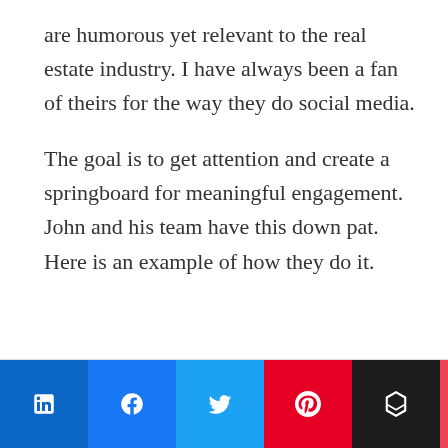are humorous yet relevant to the real estate industry. I have always been a fan of theirs for the way they do social media.
The goal is to get attention and create a springboard for meaningful engagement. John and his team have this down pat. Here is an example of how they do it.
15K SHARES — share buttons: LinkedIn, Facebook, Twitter, Pinterest, Buffer, Pocket, Flipboard